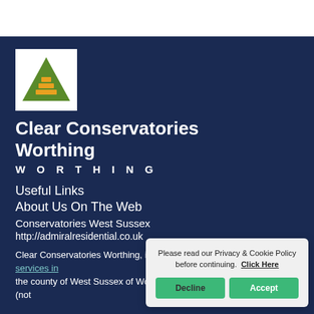[Figure (logo): Clear Conservatories Worthing logo: white background with a green and orange pyramid/triangle icon]
Clear Conservatories Worthing
W O R T H I N G
Useful Links
About Us On The Web
Conservatories West Sussex
http://admiralresidential.co.uk
Clear Conservatories Worthing, in Worthing, give conservatory services in the county of West Sussex of Worthing in the South region of England (not
Please read our Privacy & Cookie Policy before continuing. Click Here
Decline
Accept